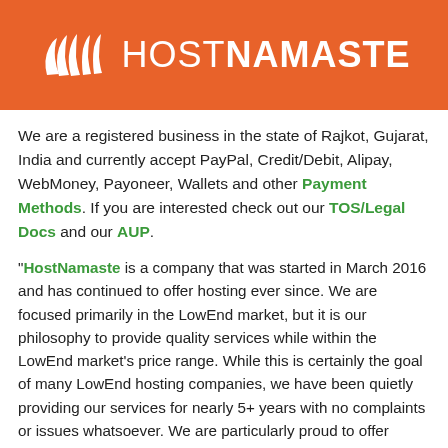[Figure (logo): HostNamaste logo on orange background — stylized white hands/waves icon on the left, white text HOSTNAMASTE on the right]
We are a registered business in the state of Rajkot, Gujarat, India and currently accept PayPal, Credit/Debit, Alipay, WebMoney, Payoneer, Wallets and other Payment Methods. If you are interested check out our TOS/Legal Docs and our AUP.
"HostNamaste is a company that was started in March 2016 and has continued to offer hosting ever since. We are focused primarily in the LowEnd market, but it is our philosophy to provide quality services while within the LowEnd market's price range. While this is certainly the goal of many LowEnd hosting companies, we have been quietly providing our services for nearly 5+ years with no complaints or issues whatsoever. We are particularly proud to offer many features that cannot often be offered by many LowEnd companies, including 24/7/365 Support, a 07-day money back guarantee, RAID-10 disks and dual processor nodes."